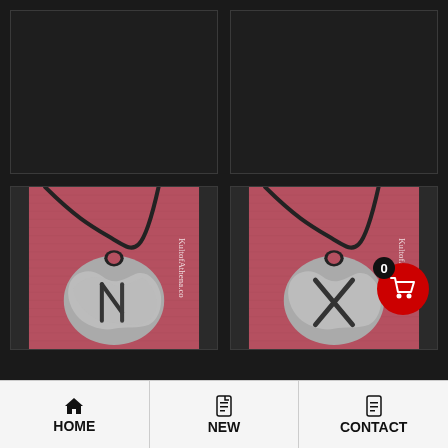[Figure (photo): Top-left grid cell: dark/empty product image placeholder with dark background]
[Figure (photo): Top-right grid cell: dark/empty product image placeholder with dark background]
[Figure (photo): Bottom-left grid cell: Photo of a silver runic pendant necklace on dark cord, showing rune on rough stone-textured pendant, laid on pink/red fabric. KultofAthena.co watermark visible.]
[Figure (photo): Bottom-right grid cell: Photo of a similar silver runic pendant necklace on dark cord, showing different rune on rough stone-textured pendant, laid on pink/red fabric. KultofAthena.co watermark visible. Cart icon overlay with 0 count badge.]
HOME   NEW   CONTACT